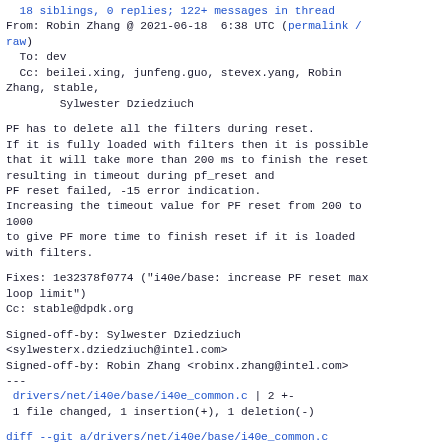18 siblings, 0 replies; 122+ messages in thread
From: Robin Zhang @ 2021-06-18  6:38 UTC (permalink / raw)
  To: dev
  Cc: beilei.xing, junfeng.guo, stevex.yang, Robin Zhang, stable,
        Sylwester Dziedziuch
PF has to delete all the filters during reset.
If it is fully loaded with filters then it is possible
that it will take more than 200 ms to finish the reset
resulting in timeout during pf_reset and
PF reset failed, -15 error indication.
Increasing the timeout value for PF reset from 200 to 1000
to give PF more time to finish reset if it is loaded
with filters.
Fixes: 1e32378f0774 ("i40e/base: increase PF reset max loop limit")
Cc: stable@dpdk.org
Signed-off-by: Sylwester Dziedziuch <sylwesterx.dziedziuch@intel.com>
Signed-off-by: Robin Zhang <robinx.zhang@intel.com>
---
 drivers/net/i40e/base/i40e_common.c | 2 +-
 1 file changed, 1 insertion(+), 1 deletion(-)
diff --git a/drivers/net/i40e/base/i40e_common.c